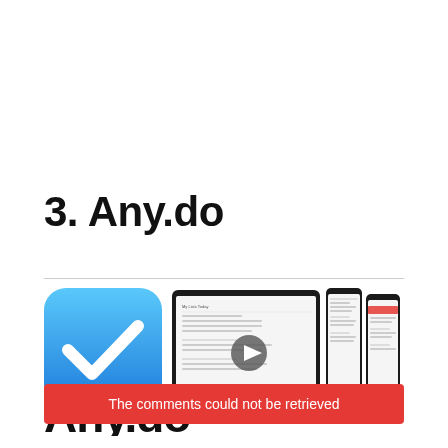3. Any.do
[Figure (screenshot): Any.do app icon (blue gradient rounded square with white checkmark) alongside screenshots of the Any.do app on iPad and two iPhones, plus a video play button overlay]
The comments could not be retrieved
[Figure (screenshot): Any.do logo text at bottom of page]